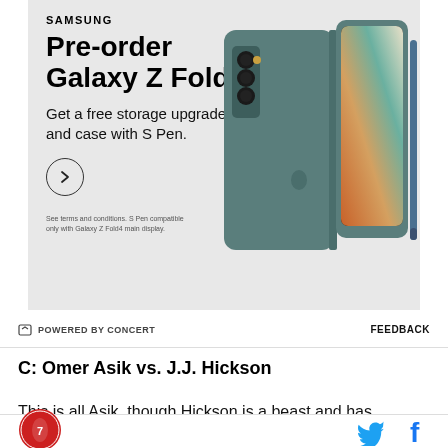[Figure (illustration): Samsung advertisement for pre-ordering Galaxy Z Fold4. Gray background with Samsung logo at top, bold text reading 'Pre-order Galaxy Z Fold4', subtitle 'Get a free storage upgrade and case with S Pen.', a circular arrow button, fine print at bottom, and a product image of the Galaxy Z Fold4 in teal/gray color with S Pen on the right side.]
⚡ POWERED BY CONCERT    FEEDBACK
C: Omer Asik vs. J.J. Hickson
This is all Asik, though Hickson is a beast and has
[Figure (logo): Round red logo with an astronaut or space-themed emblem]
[Figure (illustration): Twitter bird icon in blue and Facebook 'f' icon in blue, social media share buttons]